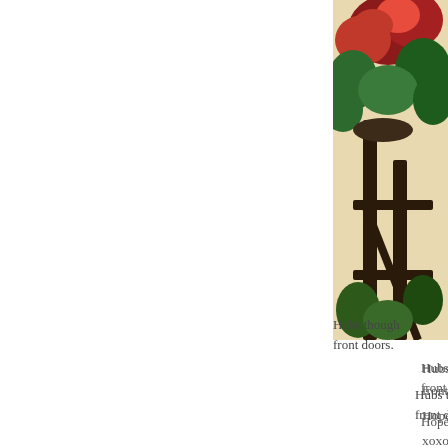[Figure (photo): A partial photo visible on the right side of the page showing a dark metal plant stand or table with red flowering plants (poinsettias or similar) and green foliage on a light/cream background, positioned near what appears to be a front door area.]
Hubs thought of putting them next to the front doors.
Hope y'all h
xoxo,
Brandi Nell